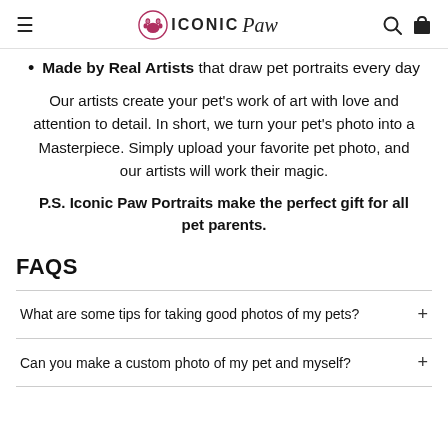Iconic Paw — navigation header with hamburger menu, logo, search and cart icons
Made by Real Artists that draw pet portraits every day
Our artists create your pet's work of art with love and attention to detail. In short, we turn your pet's photo into a Masterpiece. Simply upload your favorite pet photo, and our artists will work their magic.
P.S. Iconic Paw Portraits make the perfect gift for all pet parents.
FAQS
What are some tips for taking good photos of my pets?
Can you make a custom photo of my pet and myself?